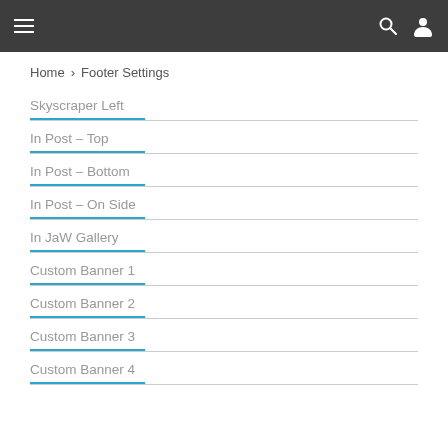Navigation bar with hamburger menu, search, and user icons
Home > Footer Settings
Skyscraper Left
In Post – Top
In Post – Bottom
In Post – On Side
In JaW Gallery
Custom Banner 1
Custom Banner 2
Custom Banner 3
Custom Banner 4